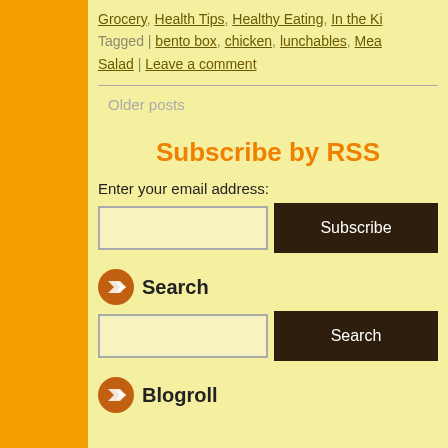Grocery, Health Tips, Healthy Eating, In the Ki... Tagged | bento box, chicken, lunchables, Mea... Salad | Leave a comment
Older posts
Subscribe by RSS
Enter your email address:
Search
Blogroll